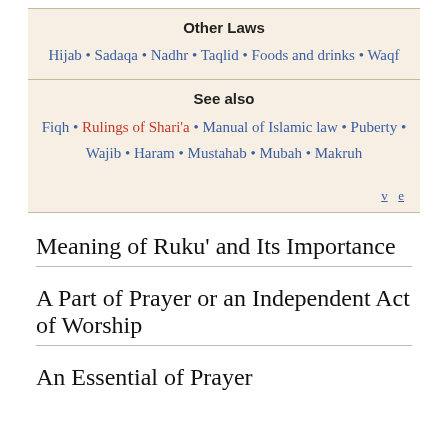Other Laws
Hijab • Sadaqa • Nadhr • Taqlid • Foods and drinks • Waqf
See also
Fiqh • Rulings of Shari'a • Manual of Islamic law • Puberty • Wajib • Haram • Mustahab • Mubah • Makruh
v  e
Meaning of Ruku' and Its Importance
A Part of Prayer or an Independent Act of Worship
An Essential of Prayer